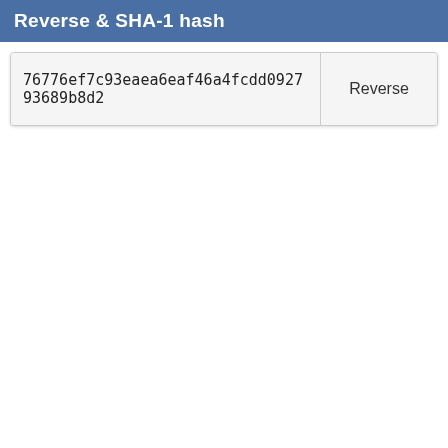Reverse & SHA-1 hash
76776ef7c93eaea6eaf46a4fcdd092793689b8d2
Reverse